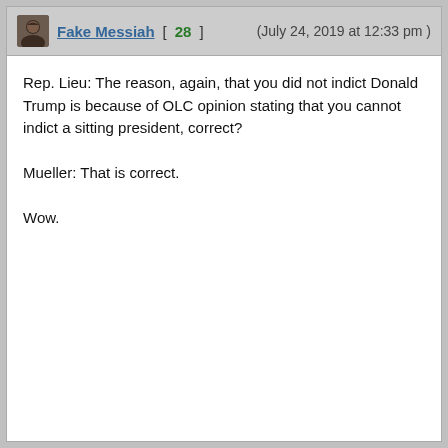Fake Messiah [ 28 ]   (July 24, 2019 at 12:33 pm )
Rep. Lieu: The reason, again, that you did not indict Donald Trump is because of OLC opinion stating that you cannot indict a sitting president, correct?

Mueller: That is correct.

Wow.